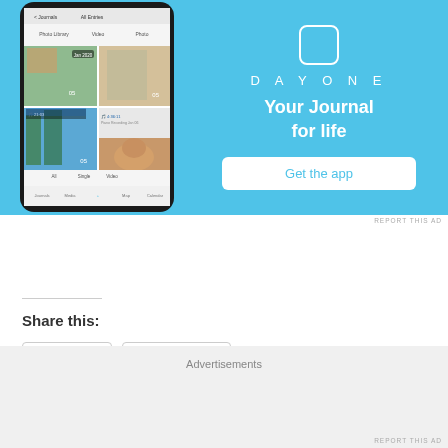[Figure (screenshot): DayOne app advertisement banner with phone screenshot on left showing photo journal entries, and right side showing 'DAY ONE - Your Journal for life' text with 'Get the app' button on blue background]
REPORT THIS AD
Share this:
Twitter
Facebook
Advertisements